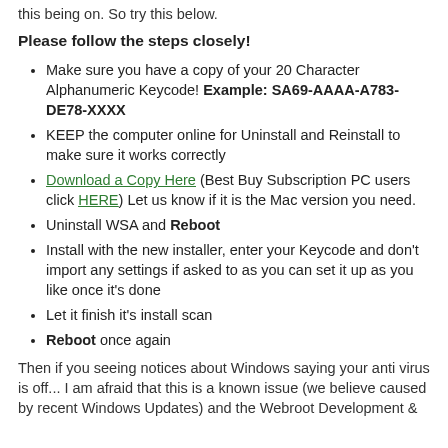this being on. So try this below.
Please follow the steps closely!
Make sure you have a copy of your 20 Character Alphanumeric Keycode! Example: SA69-AAAA-A783-DE78-XXXX
KEEP the computer online for Uninstall and Reinstall to make sure it works correctly
Download a Copy Here (Best Buy Subscription PC users click HERE) Let us know if it is the Mac version you need.
Uninstall WSA and Reboot
Install with the new installer, enter your Keycode and don't import any settings if asked to as you can set it up as you like once it's done
Let it finish it's install scan
Reboot once again
Then if you seeing notices about Windows saying your anti virus is off... I am afraid that this is a known issue (we believe caused by recent Windows Updates) and the Webroot Development &...